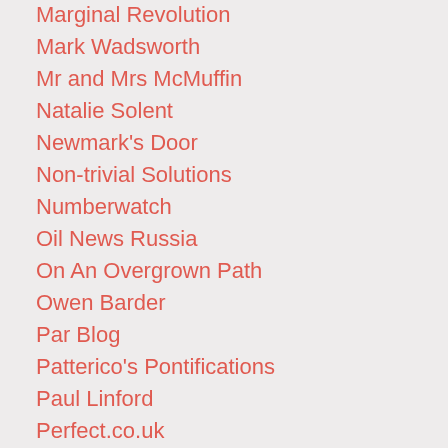Marginal Revolution
Mark Wadsworth
Mr and Mrs McMuffin
Natalie Solent
Newmark's Door
Non-trivial Solutions
Numberwatch
Oil News Russia
On An Overgrown Path
Owen Barder
Par Blog
Patterico's Pontifications
Paul Linford
Perfect.co.uk
Peter Briffa
Peter's Place